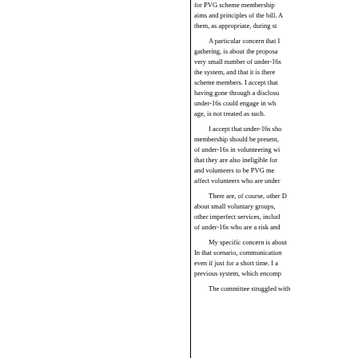for PVG scheme membership aims and principles of the bill. A them, as appropriate, during st
A particular concern that I gathering, is about the proposa very small number of under-16s the system, and that it is there scheme members. I accept that having gone through a disclosu under-16s could engage in wh age, is not treated as such.
I accept that under-16s sho membership should be present, of under-16s in volunteering wi that they are also ineligible for and volunteers to be PVG me affect volunteers who are under
There are, of course, other D about small voluntary groups, other imperfect services, includ of under-16s who are a risk and
My specific concern is about In that scenario, communication even if just for a short time. I a previous system, which encomp
The committee struggled with